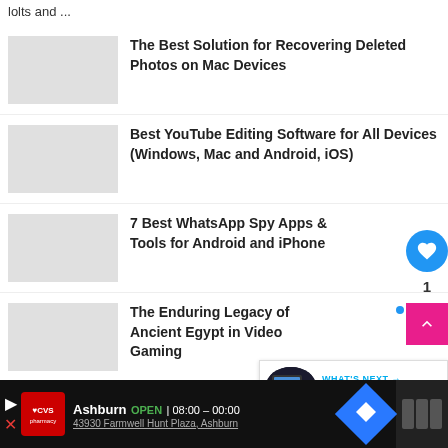lolts and ...
The Best Solution for Recovering Deleted Photos on Mac Devices
Best YouTube Editing Software for All Devices (Windows, Mac and Android, iOS)
7 Best WhatsApp Spy Apps & Tools for Android and iPhone
The Enduring Legacy of Ancient Egypt in Video Gaming
[Figure (infographic): WHAT'S NEXT widget with Microsoft publishes,... text and thumbnail]
[Figure (infographic): CVS Pharmacy ad bar: Ashburn OPEN | 08:00 - 00:00, 43930 Farmwell Hunt Plaza, Ashburn]